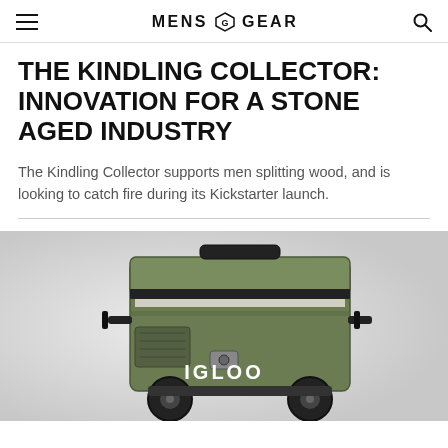MENS GEAR
THE KINDLING COLLECTOR: INNOVATION FOR A STONE AGED INDUSTRY
The Kindling Collector supports men splitting wood, and is looking to catch fire during its Kickstarter launch.
[Figure (photo): Green and black Igloo cooler on wheels photographed against a light gray background]